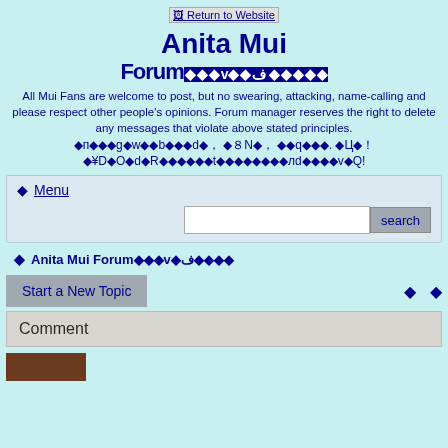Return to Website
Anita Mui Forum
All Mui Fans are welcome to post, but no swearing, attacking, name-calling and please respect other people's opinions. Forum manager reserves the right to delete any messages that violate above stated principles.
⬥ Menu
search
Anita Mui Forum
Start a New Topic
| Comment |
| --- |